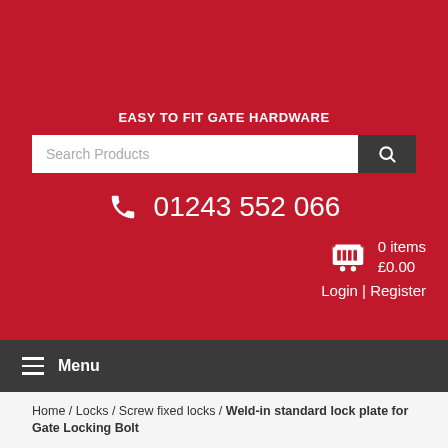EASY TO FIT GATE HARDWARE
Search Products
01243 552 066
0 items £0.00
Login | Register
Menu
Home / Locks / Screw fixed locks / Weld-in standard lock plate for Gate Locking Bolt